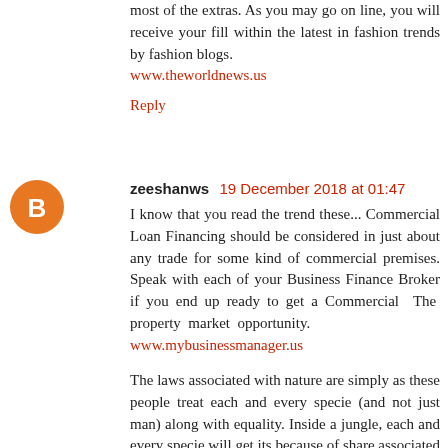most of the extras. As you may go on line, you will receive your fill within the latest in fashion trends by fashion blogs. www.theworldnews.us
Reply
zeeshanws  19 December 2018 at 01:47
I know that you read the trend these... Commercial Loan Financing should be considered in just about any trade for some kind of commercial premises. Speak with each of your Business Finance Broker if you end up ready to get a Commercial The property market opportunity. www.mybusinessmanager.us
The laws associated with nature are simply as these people treat each and every specie (and not just man) along with equality. Inside a jungle, each and every specie will get its because of share associated with food, air as well as water that enable these phones live the dignified life without having to be dependent on every other creation. Character makes absolutely no distinction in between one specie, and also the other because all species would be the children